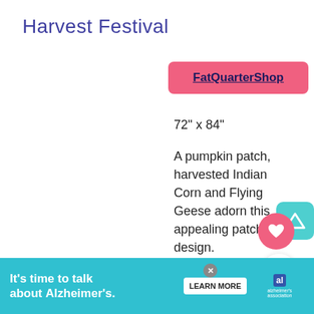Harvest Festival
FatQuarterShop
72" x 84"
A pumpkin patch, harvested Indian Corn and Flying Geese adorn this appealing patchwork design.
Harvest Festival
K and Co.
Ombre Confetti
It's time to talk about Alzheimer's.
LEARN MORE